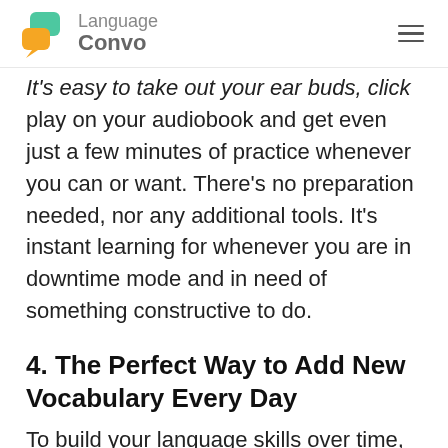Language Convo
It's easy to take out your ear buds, click play on your audiobook and get even just a few minutes of practice whenever you can or want. There's no preparation needed, nor any additional tools. It's instant learning for whenever you are in downtime mode and in need of something constructive to do.
4. The Perfect Way to Add New Vocabulary Every Day
To build your language skills over time,